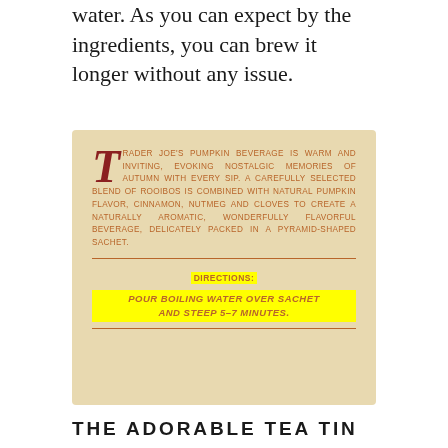water. As you can expect by the ingredients, you can brew it longer without any issue.
[Figure (photo): Photo of Trader Joe's Pumpkin Beverage tea box label. Text reads: TRADER JOE'S PUMPKIN BEVERAGE IS WARM AND INVITING, EVOKING NOSTALGIC MEMORIES OF AUTUMN WITH EVERY SIP. A CAREFULLY SELECTED BLEND OF ROOIBOS IS COMBINED WITH NATURAL PUMPKIN FLAVOR, CINNAMON, NUTMEG AND CLOVES TO CREATE A NATURALLY AROMATIC, WONDERFULLY FLAVORFUL BEVERAGE, DELICATELY PACKED IN A PYRAMID-SHAPED SACHET. DIRECTIONS: POUR BOILING WATER OVER SACHET AND STEEP 5-7 MINUTES. The DIRECTIONS and instructions are highlighted in yellow.]
THE ADORABLE TEA TIN